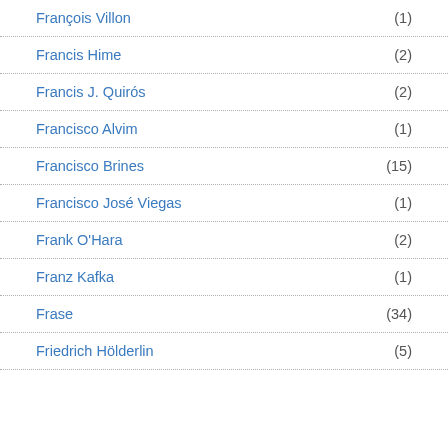François Villon (1)
Francis Hime (2)
Francis J. Quirós (2)
Francisco Alvim (1)
Francisco Brines (15)
Francisco José Viegas (1)
Frank O'Hara (2)
Franz Kafka (1)
Frase (34)
Friedrich Hölderlin (5)